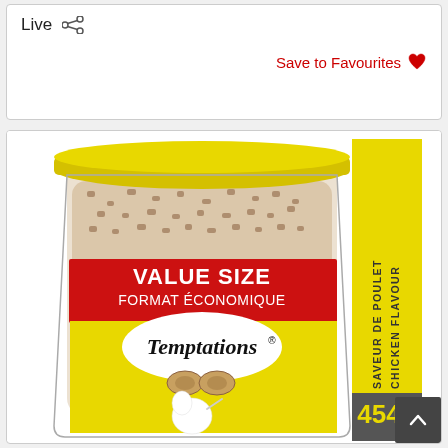Live
Save to Favourites ♡
[Figure (photo): Temptations cat treats Value Size container (454g), Chicken Flavour / Saveur de Poulet, with yellow lid and label showing the Temptations brand logo with cat mascot and kibble pieces depicted on a clear plastic tub. Yellow side panel reads CHICKEN FLAVOUR SAVEUR DE POULET. Bottom right shows 454g in yellow text on dark background.]